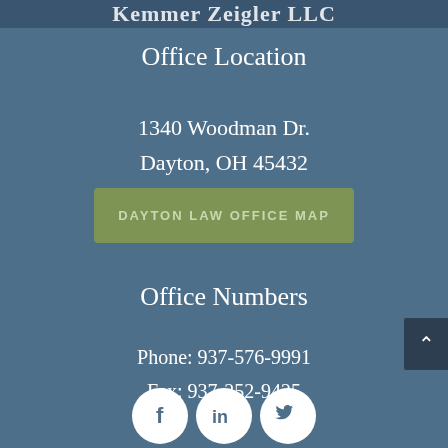Kemmer Zeigler LLC
Office Location
1340 Woodman Dr.
Dayton, OH 45432
DAYTON LAW OFFICE MAP
Office Numbers
Phone: 937-576-9991
Fax: 937-252-9425
[Figure (illustration): Social media icons: Facebook, LinkedIn, Twitter in white circles on blue background]